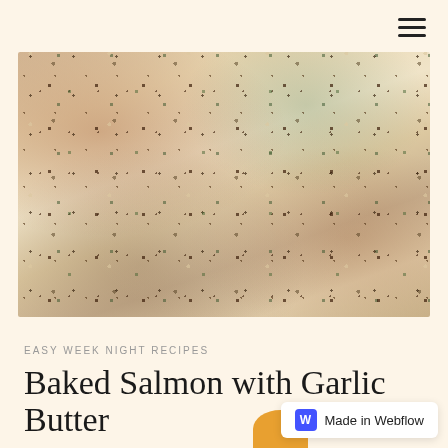[Figure (photo): Close-up photo of baked salmon with garlic butter, showing pale fish with dark pepper speckles and green herb bits on top]
EASY WEEK NIGHT RECIPES
Baked Salmon with Garlic Butter